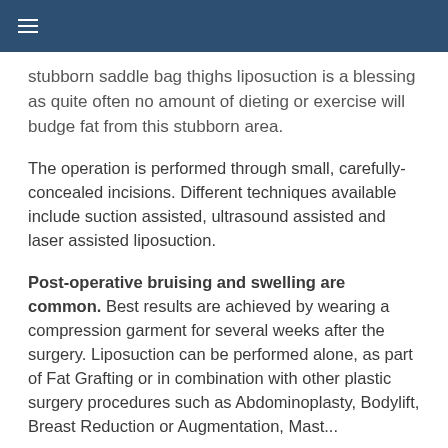≡
stubborn saddle bag thighs liposuction is a blessing as quite often no amount of dieting or exercise will budge fat from this stubborn area.
The operation is performed through small, carefully-concealed incisions. Different techniques available include suction assisted, ultrasound assisted and laser assisted liposuction.
Post-operative bruising and swelling are common. Best results are achieved by wearing a compression garment for several weeks after the surgery. Liposuction can be performed alone, as part of Fat Grafting or in combination with other plastic surgery procedures such as Abdominoplasty, Bodylift, Breast Reduction or Augmentation, Mastopexy...